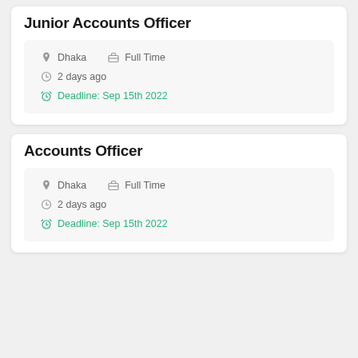Junior Accounts Officer
Dhaka   Full Time
2 days ago
Deadline: Sep 15th 2022
Accounts Officer
Dhaka   Full Time
2 days ago
Deadline: Sep 15th 2022